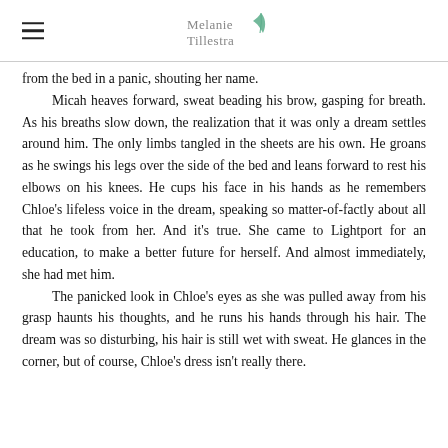Melanie Tillestra (logo)
from the bed in a panic, shouting her name.

Micah heaves forward, sweat beading his brow, gasping for breath. As his breaths slow down, the realization that it was only a dream settles around him. The only limbs tangled in the sheets are his own. He groans as he swings his legs over the side of the bed and leans forward to rest his elbows on his knees. He cups his face in his hands as he remembers Chloe's lifeless voice in the dream, speaking so matter-of-factly about all that he took from her. And it's true. She came to Lightport for an education, to make a better future for herself. And almost immediately, she had met him.

The panicked look in Chloe's eyes as she was pulled away from his grasp haunts his thoughts, and he runs his hands through his hair. The dream was so disturbing, his hair is still wet with sweat. He glances in the corner, but of course, Chloe's dress isn't really there.